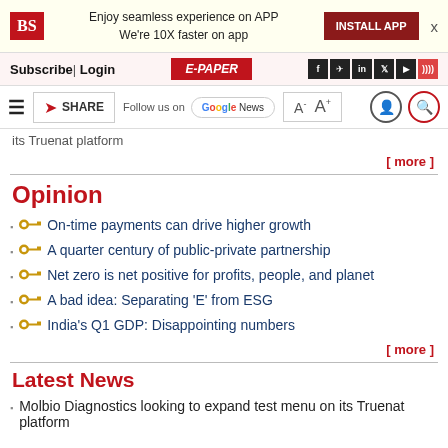BS | Enjoy seamless experience on APP We're 10X faster on app | INSTALL APP
Subscribe | Login | E-PAPER
SHARE | Follow us on Google News | A- A+
its Truenat platform
[ more ]
Opinion
On-time payments can drive higher growth
A quarter century of public-private partnership
Net zero is net positive for profits, people, and planet
A bad idea: Separating 'E' from ESG
India's Q1 GDP: Disappointing numbers
[ more ]
Latest News
Molbio Diagnostics looking to expand test menu on its Truenat platform